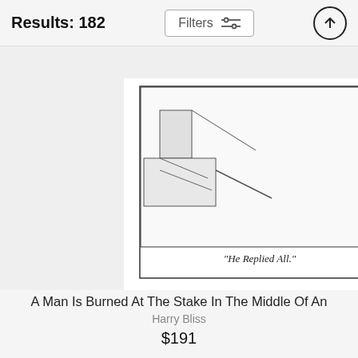Results: 182
[Figure (photo): A perspective view of a framed comic print mounted on a white canvas block. The print shows a pencil-drawn comic with two panels depicting figures near stairs, with caption text reading "He Replied All." in italic script.]
A Man Is Burned At The Stake In The Middle Of An
Harry Bliss
$191
Have you tried icing it
Tom Cheney
$191